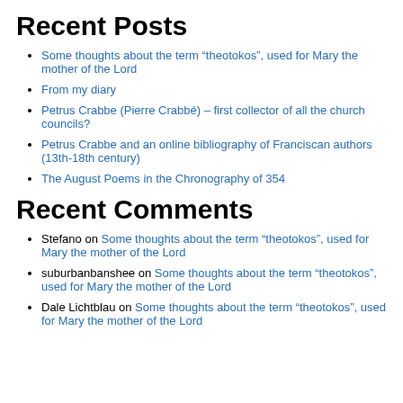Recent Posts
Some thoughts about the term “theotokos”, used for Mary the mother of the Lord
From my diary
Petrus Crabbe (Pierre Crabbé) – first collector of all the church councils?
Petrus Crabbe and an online bibliography of Franciscan authors (13th-18th century)
The August Poems in the Chronography of 354
Recent Comments
Stefano on Some thoughts about the term “theotokos”, used for Mary the mother of the Lord
suburbanbanshee on Some thoughts about the term “theotokos”, used for Mary the mother of the Lord
Dale Lichtblau on Some thoughts about the term “theotokos”, used for Mary the mother of the Lord